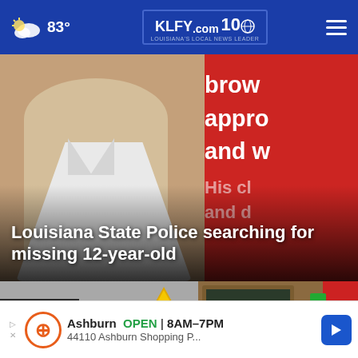83° KLFY.com 10
[Figure (photo): Hero news story image: Louisiana State Police searching for missing 12-year-old. Shows a youth in a white polo shirt on the left, with a red overlay on the right side containing partially visible text (brow, appro, and w, His cl, and d). Bold white headline overlays the bottom: 'Louisiana State Police searching for missing 12-year-old']
[Figure (photo): Bottom left card: Power outages graphic showing dark banner with text 'OWER' (partially cut) and 'UTAGES', with a yellow caution/warning triangle sign on grey background]
[Figure (photo): Bottom right card: School supplies photo showing a chalkboard, colored chalks, paper clips, and a red book on a wooden surface. Close button (X) visible.]
Ashburn  OPEN | 8AM–7PM  44110 Ashburn Shopping P...